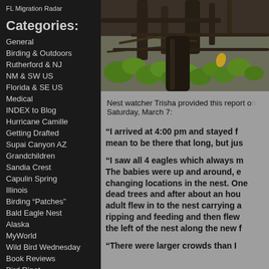FL Migration Radar
Categories:
General
Birding & Outdoors
Rutherford & NJ
NM & SW US
Florida & SE US
Medical
INDEX to Blog
Hurricane Camille
Getting Drafted
Supai Canyon AZ
Grandchildren
Sandia Crest
Capulin Spring
Illinois
Birding “Patches”
Bald Eagle Nest
Alaska
MyWorld
Wild Bird Wednesday
Book Reviews
Bird D’pot
Search:
[Figure (photo): Close-up photo of a bald eagle nest area with green leaves and dark branches/tree trunks]
Nest watcher Trisha provided this report on Saturday, March 7:
“I arrived at 4:00 pm and stayed f... mean to be there that long, but jus...
“I saw all 4 eagles which always m... The babies were up and around, e... changing locations in the nest. One... dead trees and after about an hou... adult flew in to the nest carrying a... ripping and feeding and then flew... the left of the nest along the new f...
“There were larger crowds than I...